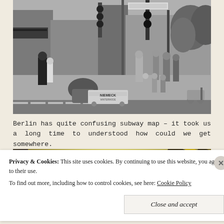[Figure (photo): Black and white street photograph of a busy Berlin intersection with pedestrians, traffic lights, storefronts, and trees. People walk on sidewalks, sit at outdoor cafe tables, and stand at a crosswalk. A cart labeled 'NIEMECK' is visible in the foreground.]
Berlin has quite confusing subway map – it took us a long time to understood how could we get somewhere.
[Figure (photo): Partial view of a second photo with a bright light and dark gold/black angled stripes visible at the top edge.]
Privacy & Cookies: This site uses cookies. By continuing to use this website, you agree to their use.
To find out more, including how to control cookies, see here: Cookie Policy
Close and accept